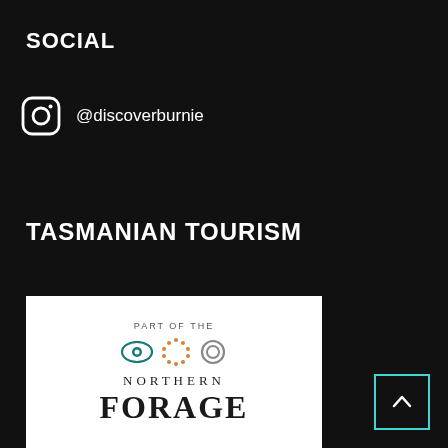SOCIAL
@discoverburnie
TASMANIAN TOURISM
[Figure (logo): Northern Forage logo on white background. Shows 'PART OF THE' text above three circular icons (teal eye, orange dots circle, grey circle), then 'NORTHERN' in spaced letters and 'FORAGE' in large bold serif.]